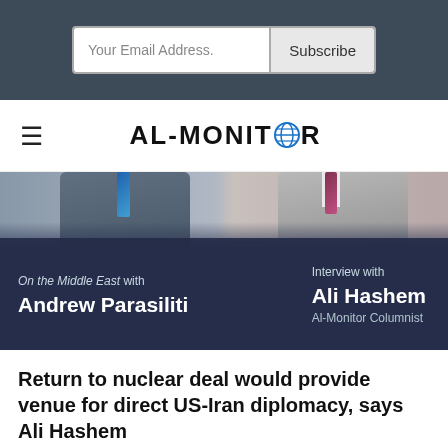[Figure (screenshot): Email subscription form with 'Your Email Address.' input field and 'Subscribe' button on dark background]
AL-MONITOR
[Figure (photo): Video thumbnail showing two men in suits with overlay: 'On the Middle East with Andrew Parasiliti' on left, 'Interview with Ali Hashem, Al-Monitor Columnist' on right]
Return to nuclear deal would provide venue for direct US-Iran diplomacy, says Ali Hashem
[Figure (other): ART19 audio player bar showing 00:00 / 31:26 with play button, progress bar, volume control, and info icons]